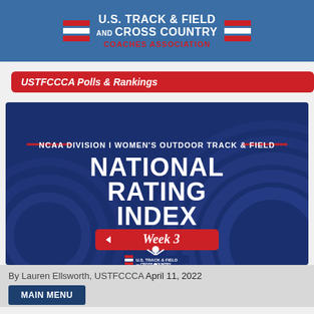[Figure (logo): U.S. Track & Field and Cross Country Coaches Association logo with red/white stripes and text on blue background]
USTFCCCA Polls & Rankings
[Figure (infographic): NCAA Division I Women's Outdoor Track & Field National Rating Index Week 3 banner on dark blue background with concentric circle track graphics and runner silhouette with USTFCCCA logo]
By Lauren Ellsworth, USTFCCCA April 11, 2022